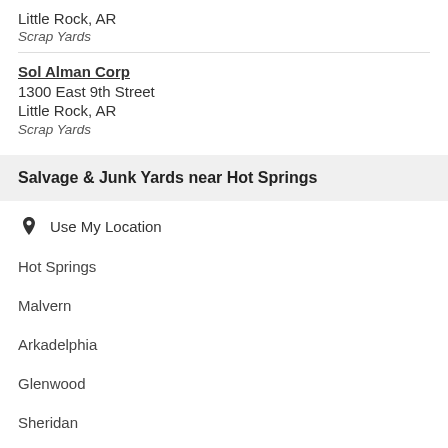Little Rock, AR
Scrap Yards
Sol Alman Corp
1300 East 9th Street
Little Rock, AR
Scrap Yards
Salvage & Junk Yards near Hot Springs
Use My Location
Hot Springs
Malvern
Arkadelphia
Glenwood
Sheridan
Ola